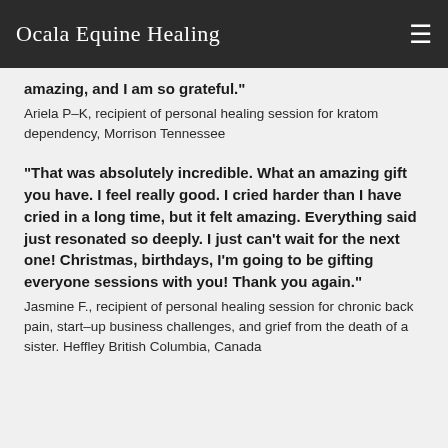Ocala Equine Healing
amazing, and I am so grateful."
Ariela P-K, recipient of personal healing session for kratom dependency, Morrison Tennessee
“That was absolutely incredible. What an amazing gift you have. I feel really good. I cried harder than I have cried in a long time, but it felt amazing. Everything said just resonated so deeply. I just can’t wait for the next one! Christmas, birthdays, I’m going to be gifting everyone sessions with you! Thank you again."
Jasmine F., recipient of personal healing session for chronic back pain, start-up business challenges, and grief from the death of a sister. Heffley British Columbia, Canada